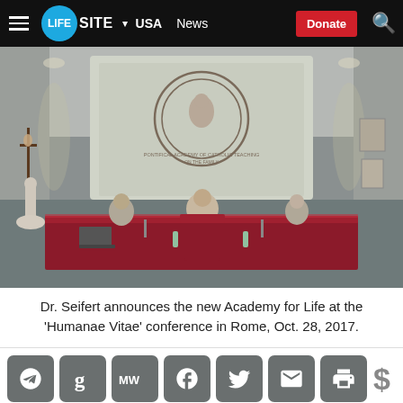LifeSite News — USA | News | Donate
[Figure (photo): Conference room with a projected screen showing an Academy seal reading 'Pontifical Academy of Catholic Teaching on the Family'. Three men sit at a long red-draped table. A crucifix and a statue of the Virgin Mary are visible on the left wall. Framed photos on the right wall.]
Dr. Seifert announces the new Academy for Life at the 'Humanae Vitae' conference in Rome, Oct. 28, 2017.
Social sharing icons: Telegram, Gettr, MeWe, Facebook, Twitter, Email, Print | Donate ($)